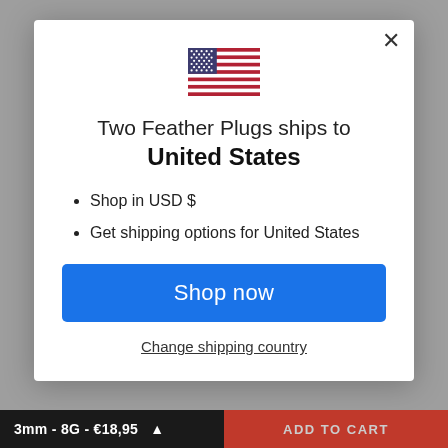[Figure (illustration): US flag emoji/illustration centered at top of modal]
Two Feather Plugs ships to United States
Shop in USD $
Get shipping options for United States
Shop now
Change shipping country
3mm - 8G - €18,95  ADD TO CART